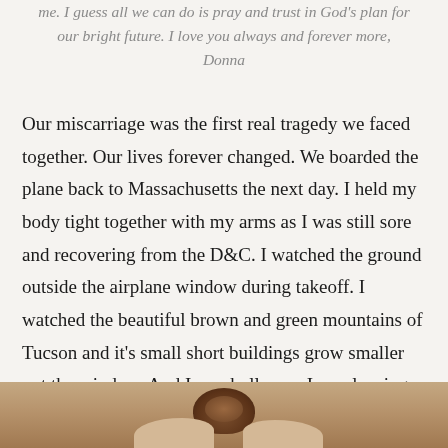me. I guess all we can do is pray and trust in God's plan for our bright future. I love you always and forever more, Donna
Our miscarriage was the first real tragedy we faced together. Our lives forever changed. We boarded the plane back to Massachusetts the next day. I held my body tight together with my arms as I was still sore and recovering from the D&C. I watched the ground outside the airplane window during takeoff. I watched the beautiful brown and green mountains of Tucson and it's small short buildings grow smaller out the window. And I was hollow… I was leaving my baby behind.
[Figure (photo): Bottom portion of a person's head showing a braided or twisted bun hairstyle with brown/auburn hair, partial view of shoulders]